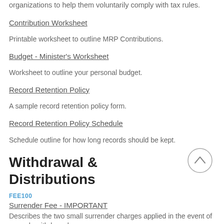organizations to help them voluntarily comply with tax rules.
Contribution Worksheet
Printable worksheet to outline MRP Contributions.
Budget - Minister's Worksheet
Worksheet to outline your personal budget.
Record Retention Policy
A sample record retention policy form.
Record Retention Policy Schedule
Schedule outline for how long records should be kept.
Withdrawal & Distributions
FEE100
Surrender Fee - IMPORTANT
Describes the two small surrender charges applied in the event of an early withdrawal,